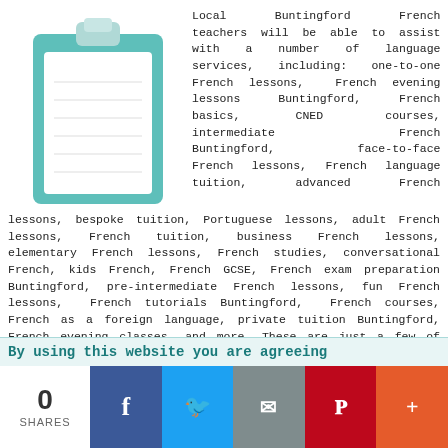[Figure (illustration): Clipboard illustration with teal/mint color, white paper, and gray clip at top]
Local Buntingford French teachers will be able to assist with a number of language services, including: one-to-one French lessons, French evening lessons Buntingford, French basics, CNED courses, intermediate French Buntingford, face-to-face French lessons, French language tuition, advanced French lessons, bespoke tuition, Portuguese lessons, adult French lessons, French tuition, business French lessons, elementary French lessons, French studies, conversational French, kids French, French GCSE, French exam preparation Buntingford, pre-intermediate French lessons, fun French lessons, French tutorials Buntingford, French courses, French as a foreign language, private tuition Buntingford, French evening classes, and more. These are just a few of the services that can be provided by a local French tutor. Buntingford residents can get these and other language related offerings.
By using this website you are agreeing
0
SHARES